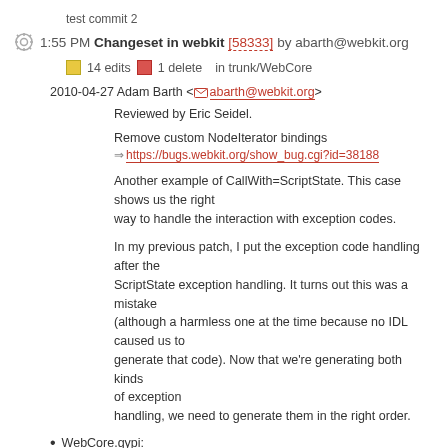test commit 2
1:55 PM Changeset in webkit [58333] by abarth@webkit.org
14 edits   1 delete   in trunk/WebCore
2010-04-27 Adam Barth <abarth@webkit.org>
Reviewed by Eric Seidel.
Remove custom NodeIterator bindings
https://bugs.webkit.org/show_bug.cgi?id=38188
Another example of CallWith=ScriptState. This case shows us the right way to handle the interaction with exception codes.
In my previous patch, I put the exception code handling after the ScriptState exception handling. It turns out this was a mistake (although a harmless one at the time because no IDL caused us to generate that code). Now that we're generating both kinds of exception handling, we need to generate them in the right order.
WebCore.gypi:
bindings/js/JSNodeIteratorCustom.cpp: